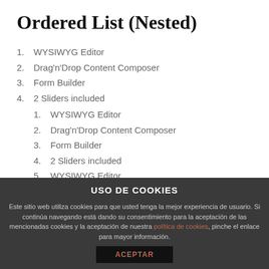Ordered List (Nested)
1. WYSIWYG Editor
2. Drag'n'Drop Content Composer
3. Form Builder
4. 2 Sliders included
1. WYSIWYG Editor (nested level 2)
2. Drag'n'Drop Content Composer (nested level 2)
3. Form Builder (nested level 2)
4. 2 Sliders included (nested level 2)
5. WYSIWYG Editor (nested level 2)
1. WYSIWYG Editor (nested level 3)
2. Drag'n'Drop Content Composer (nested level 3)
USO DE COOKIES
Este sitio web utiliza cookies para que usted tenga la mejor experiencia de usuario. Si continúa navegando está dando su consentimiento para la aceptación de las mencionadas cookies y la aceptación de nuestra política de cookies, pinche el enlace para mayor información.
ACEPTAR